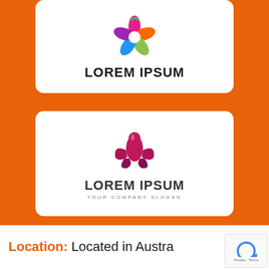[Figure (logo): Top white card with a colorful flower/petal circular logo in rainbow colors]
LOREM IPSUM
[Figure (logo): Second white card with a magenta/pink woman face butterfly logo above 'LOREM IPSUM' and 'YOUR COMPANY SLOGAN']
LOREM IPSUM
YOUR COMPANY SLOGAN
Location: Located in Austra